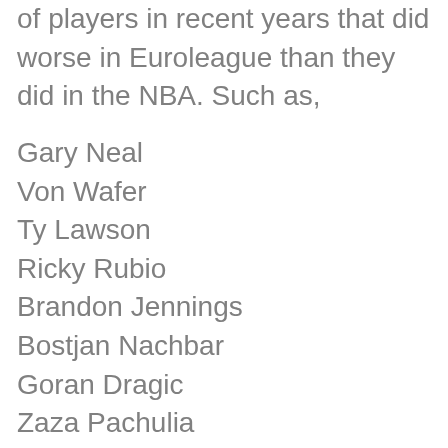of players in recent years that did worse in Euroleague than they did in the NBA. Such as,
Gary Neal
Von Wafer
Ty Lawson
Ricky Rubio
Brandon Jennings
Bostjan Nachbar
Goran Dragic
Zaza Pachulia
Reggie Williams
Walter Herrmann
That's just what comes to mind, I assure you if I actually checked, I can find a